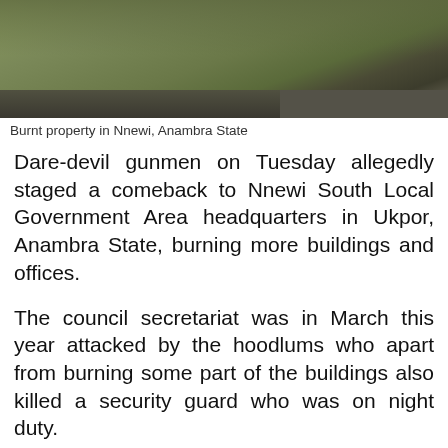[Figure (photo): Photograph of burnt property in Nnewi, Anambra State showing scorched ground and road]
Burnt property in Nnewi, Anambra State
Dare-devil gunmen on Tuesday allegedly staged a comeback to Nnewi South Local Government Area headquarters in Ukpor, Anambra State, burning more buildings and offices.
The council secretariat was in March this year attacked by the hoodlums who apart from burning some part of the buildings also killed a security guard who was on night duty.
According to a source, the gunmen invaded the local government secretariat at about 2:00pm on Tuesday and set some of the remaining buildings in the premises ablaze.
They also reportedly gunned down an unconfirmed number of soldiers in the area who attempted to restrict them from enforcing the sit-at-home order.
The gunmen, from there, visited Ebonater...